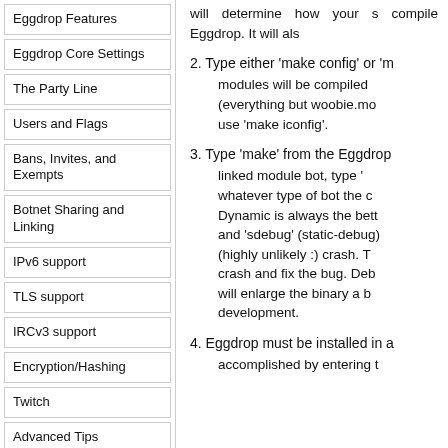Eggdrop Features
Eggdrop Core Settings
The Party Line
Users and Flags
Bans, Invites, and Exempts
Botnet Sharing and Linking
IPv6 support
TLS support
IRCv3 support
Encryption/Hashing
Twitch
Advanced Tips
Textfile Substitutions
will determine how your s compile Eggdrop. It will als
2. Type either ‘make config’ or ‘m modules will be compiled (everything but woobie.mo use ‘make iconfig’.
3. Type ‘make’ from the Eggdrop linked module bot, type ‘ whatever type of bot the c Dynamic is always the bett and ‘sdebug’ (static-debug) (highly unlikely :) crash. T crash and fix the bug. Deb will enlarge the binary a b development.
4. Eggdrop must be installed in a accomplished by entering t